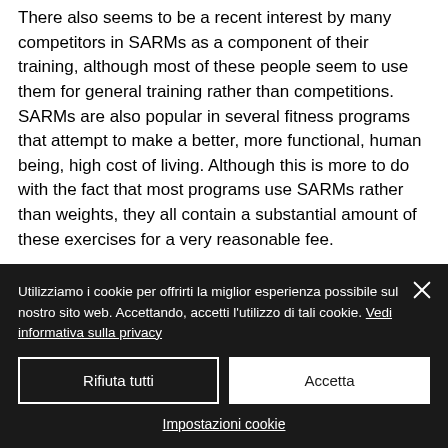There also seems to be a recent interest by many competitors in SARMs as a component of their training, although most of these people seem to use them for general training rather than competitions. SARMs are also popular in several fitness programs that attempt to make a better, more functional, human being, high cost of living. Although this is more to do with the fact that most programs use SARMs rather than weights, they all contain a substantial amount of these exercises for a very reasonable fee.
Utilizziamo i cookie per offrirti la miglior esperienza possibile sul nostro sito web. Accettando, accetti l'utilizzo di tali cookie. Vedi informativa sulla privacy
Rifiuta tutti
Accetta
Impostazioni cookie